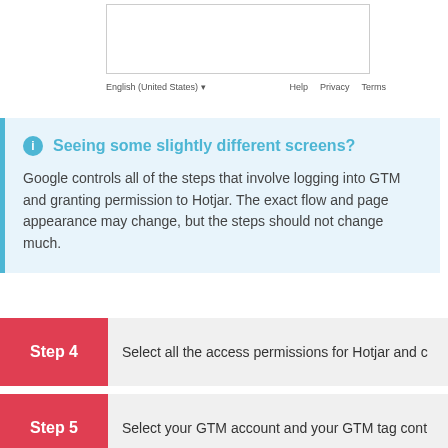[Figure (screenshot): Browser window showing Google login page footer with English (United States) language selector and Help, Privacy, Terms links]
Seeing some slightly different screens?
Google controls all of the steps that involve logging into GTM and granting permission to Hotjar. The exact flow and page appearance may change, but the steps should not change much.
Step 4 — Select all the access permissions for Hotjar and c…
Step 5 — Select your GTM account and your GTM tag cont…